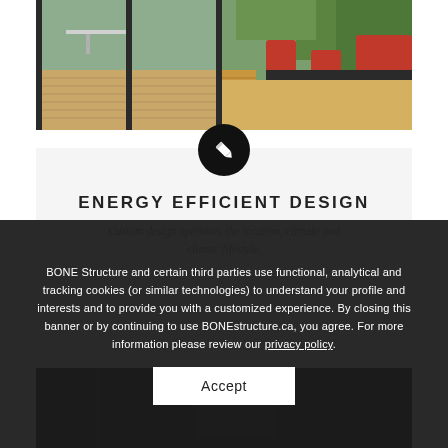[Figure (photo): Interior photo showing glass sliding doors opening to a wooden deck with outdoor furniture, and a dining area with red chairs visible on the right.]
[Figure (illustration): Black circular icon with a white pencil/edit symbol in the center.]
ENERGY EFFICIENT DESIGN
Custom design optimises the location, climate and clients' lifestyle.
BONE Structure and certain third parties use functional, analytical and tracking cookies (or similar technologies) to understand your profile and interests and to provide you with a customized experience. By closing this banner or by continuing to use BONEstructure.ca, you agree. For more information please review our privacy policy.
Accept
[Figure (photo): Dark interior architectural photo, partially visible at the bottom of the page.]